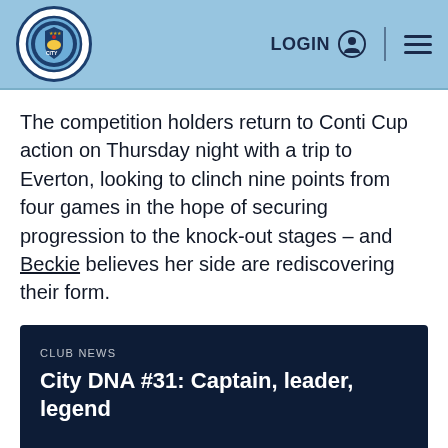Manchester City | LOGIN | menu
The competition holders return to Conti Cup action on Thursday night with a trip to Everton, looking to clinch nine points from four games in the hope of securing progression to the knock-out stages – and Beckie believes her side are rediscovering their form.
CLUB NEWS
City DNA #31: Captain, leader, legend
“We’ve had two good results and I think we’re back on track, where we want to be,” she